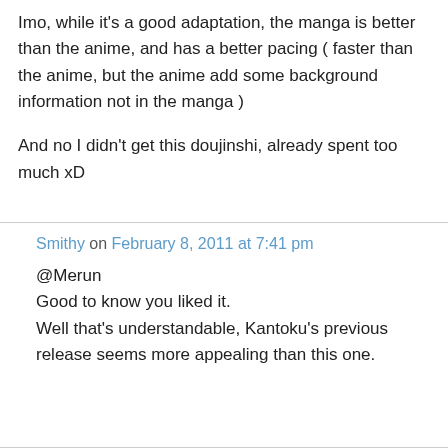Imo, while it's a good adaptation, the manga is better than the anime, and has a better pacing ( faster than the anime, but the anime add some background information not in the manga )

And no I didn't get this doujinshi, already spent too much xD
Smithy on February 8, 2011 at 7:41 pm
@Merun
Good to know you liked it.
Well that's understandable, Kantoku's previous release seems more appealing than this one.